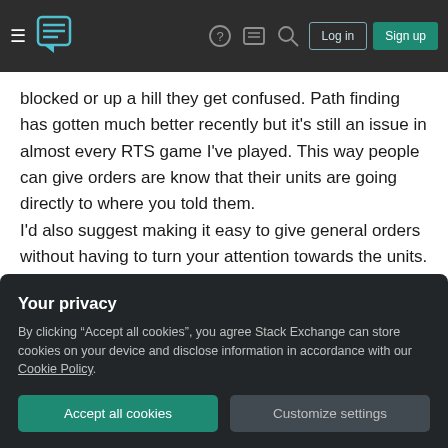Stack Exchange navigation header with hamburger menu, logo, help, chat, search icons, Log in and Sign up buttons
blocked or up a hill they get confused. Path finding has gotten much better recently but it's still an issue in almost every RTS game I've played. This way people can give orders are know that their units are going directly to where you told them.
I'd also suggest making it easy to give general orders without having to turn your attention towards the units. A rallying system would be a sufficient place to start but it'd need to be expanded upon. Perhaps incorporating the passive commands into it
Your privacy
By clicking "Accept all cookies", you agree Stack Exchange can store cookies on your device and disclose information in accordance with our Cookie Policy.
Accept all cookies
Customize settings
from whatever it is you're doing in the game. Make it